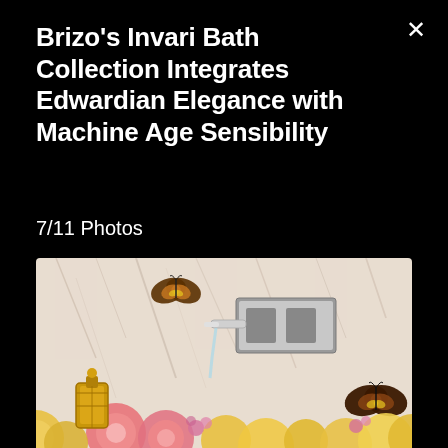Brizo's Invari Bath Collection Integrates Edwardian Elegance with Machine Age Sensibility
7/11 Photos
[Figure (photo): A decorative bathroom faucet mounted on a marble wall, with butterflies and colorful flowers (peonies, yellow blooms) in the foreground, and an ornate golden lantern. Brizo Invari bath collection product photo.]